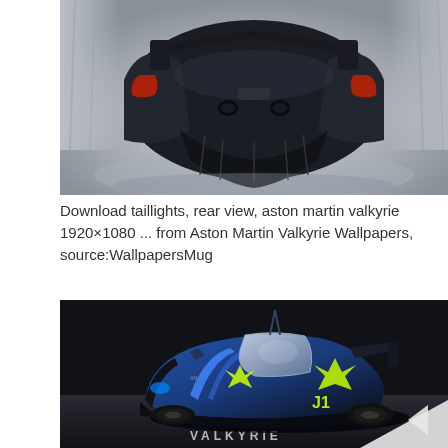[Figure (photo): Rear view of an Aston Martin Valkyrie hypercar in a studio setting, showing the distinctive rear diffuser, taillights, and exhaust system against a white curtain background.]
Download taillights, rear view, aston martin valkyrie 1920×1080 ... from Aston Martin Valkyrie Wallpapers, source:WallpapersMug
[Figure (photo): Front three-quarter view of an Aston Martin Valkyrie AMR Pro race car in dark blue and black livery with yellow/green star accents and J1 markings, on a racing circuit surface with VALYRIE branding visible.]